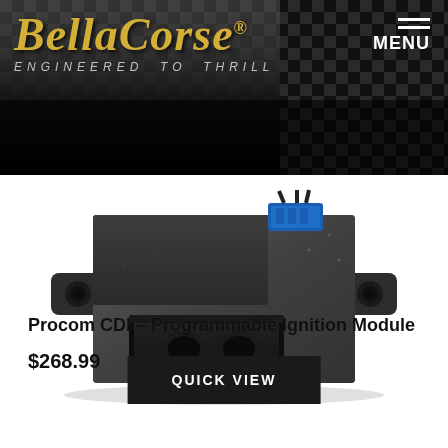BellaCorse® — ENGINEERED TO THRILL
[Figure (photo): Procom CDI Programmable Ignition Module — a dark grey rectangular electronic component with mounting tabs on each side, a black connector port on the front, and a blue wire connector on top right]
Procom CDI – Programmable Ignition Module
$268.99
QUICK VIEW